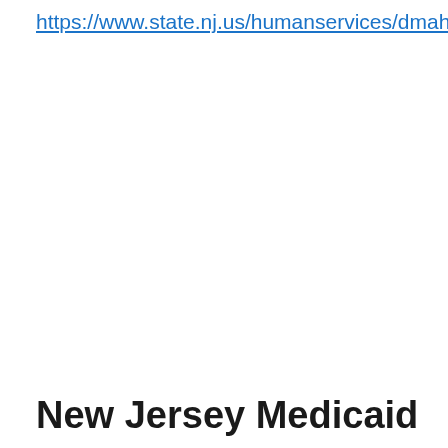https://www.state.nj.us/humanservices/dmahs/clients/medicaid/
New Jersey Medicaid